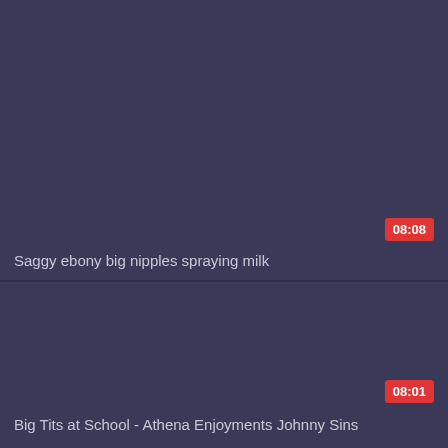[Figure (screenshot): Video thumbnail placeholder - dark blue-gray background for first video]
08:08
Saggy ebony big nipples spraying milk
[Figure (screenshot): Video thumbnail placeholder - dark blue-gray background for second video]
08:01
Big Tits at School - Athena Enjoyments Johnny Sins